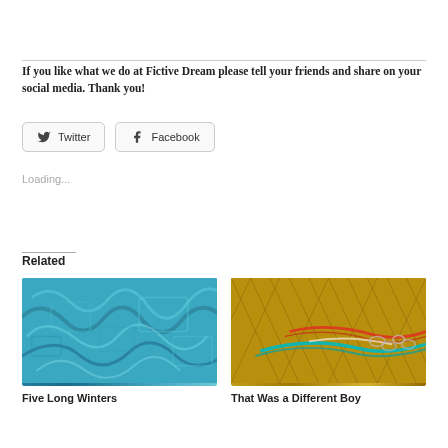If you like what we do at Fictive Dream please tell your friends and share on your social media. Thank you!
[Figure (screenshot): Twitter and Facebook share buttons]
Loading...
Related
[Figure (photo): Blue abstract textured artwork thumbnail for Five Long Winters]
Five Long Winters
[Figure (photo): Gold fishing net with colorful ropes photograph thumbnail for That Was a Different Boy]
That Was a Different Boy